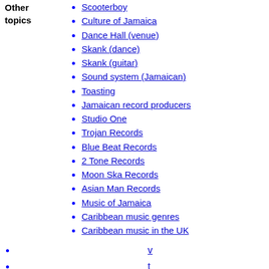Scooterboy
Culture of Jamaica
Dance Hall (venue)
Skank (dance)
Skank (guitar)
Sound system (Jamaican)
Toasting
Jamaican record producers
Studio One
Trojan Records
Blue Beat Records
2 Tone Records
Moon Ska Records
Asian Man Records
Music of Jamaica
Caribbean music genres
Caribbean music in the UK
v
t
e
Soul music
Blue-eyed soul
Boogaloo